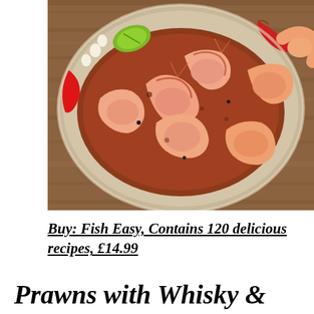[Figure (photo): A rustic plate of cooked prawns/shrimp with red chillies, lime wedges and sauce on a wooden surface, photographed from above/side angle]
Buy: Fish Easy, Contains 120 delicious recipes, £14.99
Prawns with Whisky &